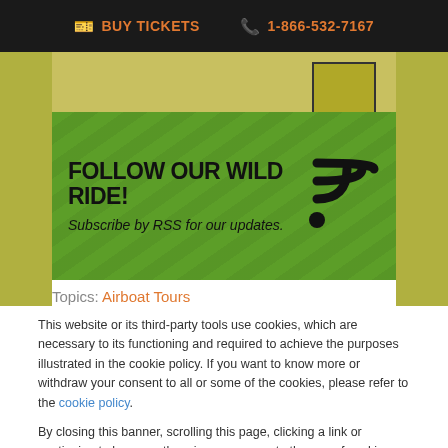BUY TICKETS  1-866-532-7167
[Figure (illustration): Green RSS subscription banner reading FOLLOW OUR WILD RIDE! Subscribe by RSS for our updates, with RSS icon on the right]
Topics: Airboat Tours
This website or its third-party tools use cookies, which are necessary to its functioning and required to achieve the purposes illustrated in the cookie policy. If you want to know more or withdraw your consent to all or some of the cookies, please refer to the cookie policy.
By closing this banner, scrolling this page, clicking a link or continuing to browse otherwise, you agree to the use of cookies.